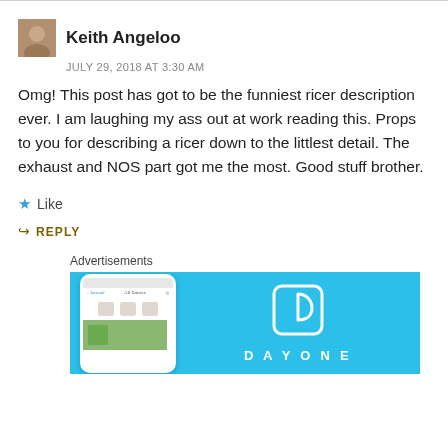Keith Angeloo
JULY 29, 2018 AT 3:30 AM
Omg! This post has got to be the funniest ricer description ever. I am laughing my ass out at work reading this. Props to you for describing a ricer down to the littlest detail. The exhaust and NOS part got me the most. Good stuff brother.
Like
REPLY
Advertisements
[Figure (screenshot): DayOne app advertisement showing a phone mockup on a light blue background with the DayOne logo and app name.]